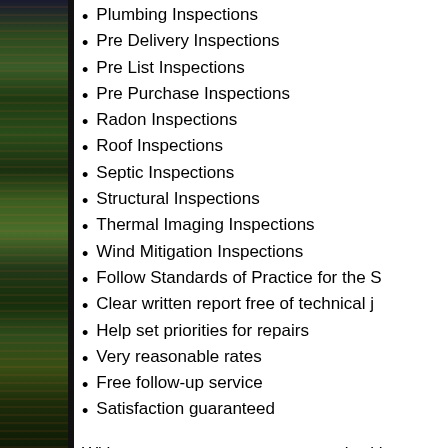Plumbing Inspections
Pre Delivery Inspections
Pre List Inspections
Pre Purchase Inspections
Radon Inspections
Roof Inspections
Septic Inspections
Structural Inspections
Thermal Imaging Inspections
Wind Mitigation Inspections
Follow Standards of Practice for the S
Clear written report free of technical j
Help set priorities for repairs
Very reasonable rates
Free follow-up service
Satisfaction guaranteed
With so many great reasons to work with choose someone else?